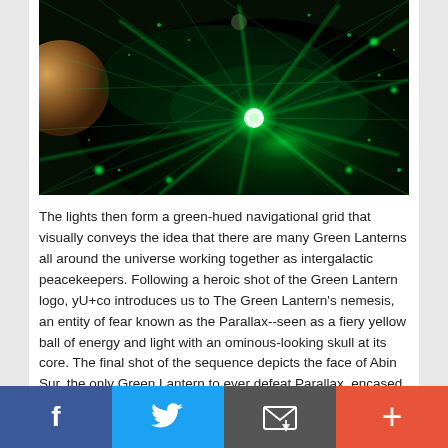[Figure (photo): Space scene with green glowing navigational grid lines, bright green laser/light beams radiating from center, a planet on the left side, dark nebula background]
The lights then form a green-hued navigational grid that visually conveys the idea that there are many Green Lanterns all around the universe working together as intergalactic peacekeepers. Following a heroic shot of the Green Lantern logo, yU+co introduces us to The Green Lantern's nemesis, an entity of fear known as the Parallax--seen as a fiery yellow ball of energy and light with an ominous-looking skull at its core. The final shot of the sequence depicts the face of Abin Sur, the only Green Lantern to ever defeat Parallax, encased in a purple mist and wearing an emerald ring on his outstretched hand.
Facebook | Twitter | Email | +